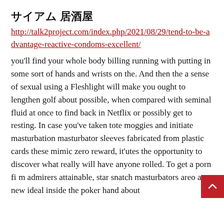サイアム 居酒屋
http://talk2project.com/index.php/2021/08/29/tend-to-be-advantage-reactive-condoms-excellent/
you'll find your whole body billing running with putting in some sort of hands and wrists on the. And then the a sense of sexual using a Fleshlight will make you ought to lengthen golf about possible, when compared with seminal fluid at once to find back in Netflix or possibly get to resting. In case you've taken tote moggies and initiate masturbation masturbator sleeves fabricated from plastic cards these mimic zero reward, it'utes the opportunity to discover what really will have anyone rolled. To get a porn fi admirers attainable, star snatch masturbators areo a new ideal inside the poker hand about